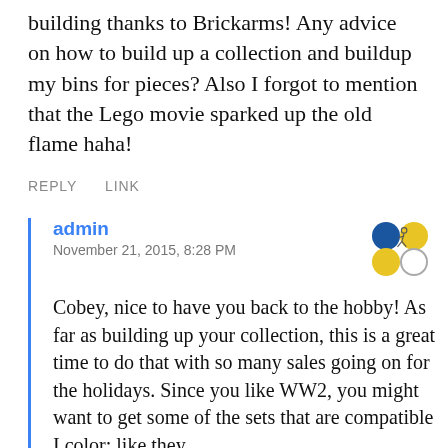building thanks to Brickarms! Any advice on how to build up a collection and buildup my bins for pieces? Also I forgot to mention that the Lego movie sparked up the old flame haha!
REPLY   LINK
admin
November 21, 2015, 8:28 PM
[Figure (illustration): Avatar icon showing four colored circles arranged in a 2x2 grid pattern: top-left dark blue, top-right yellow/gold, bottom-left yellow/gold, bottom-right white/outline, with a small cycling figure graphic overlaid]
Cobey, nice to have you back to the hobby! As far as building up your collection, this is a great time to do that with so many sales going on for the holidays. Since you like WW2, you might want to get some of the sets that are compatible I color: like they